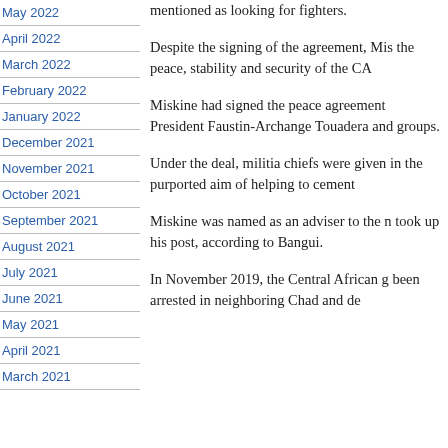May 2022
April 2022
March 2022
February 2022
January 2022
December 2021
November 2021
October 2021
September 2021
August 2021
July 2021
June 2021
May 2021
April 2021
March 2021
mentioned as looking for fighters.
Despite the signing of the agreement, Mis the peace, stability and security of the CA
Miskine had signed the peace agreement President Faustin-Archange Touadera and groups.
Under the deal, militia chiefs were given in the purported aim of helping to cement
Miskine was named as an adviser to the n took up his post, according to Bangui.
In November 2019, the Central African g been arrested in neighboring Chad and de